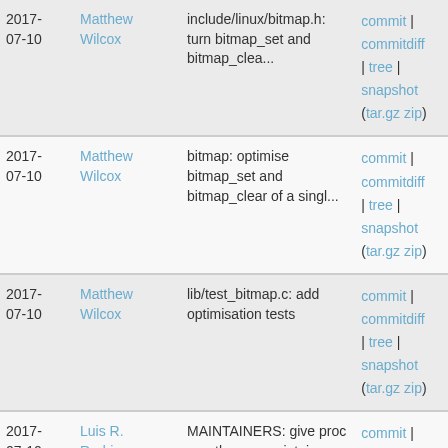| Date | Author | Commit message | Links |
| --- | --- | --- | --- |
| 2017-07-10 | Matthew Wilcox | include/linux/bitmap.h: turn bitmap_set and bitmap_clea... | commit | commitdiff | tree | snapshot (tar.gz zip) |
| 2017-07-10 | Matthew Wilcox | bitmap: optimise bitmap_set and bitmap_clear of a singl... | commit | commitdiff | tree | snapshot (tar.gz zip) |
| 2017-07-10 | Matthew Wilcox | lib/test_bitmap.c: add optimisation tests | commit | commitdiff | tree | snapshot (tar.gz zip) |
| 2017-07-10 | Luis R. Rodriguez | MAINTAINERS: give proc sysctl some maintainer love | commit | commitdiff | tree | snapshot (tar.gz zip) |
| 2017-07-10 | Masahiro Yamada | kernel/kallsyms.c: replace all_var with IS_ENABLED... | commit | commitdiff |